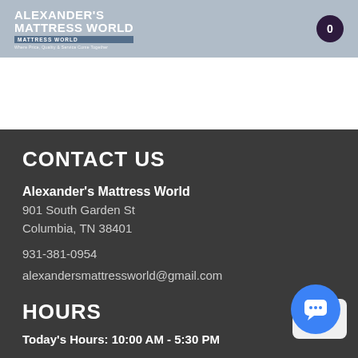Alexander's Mattress World
CONTACT US
Alexander's Mattress World
901 South Garden St
Columbia, TN 38401
931-381-0954
alexandersmattressworld@gmail.com
HOURS
Today's Hours: 10:00 AM - 5:30 PM